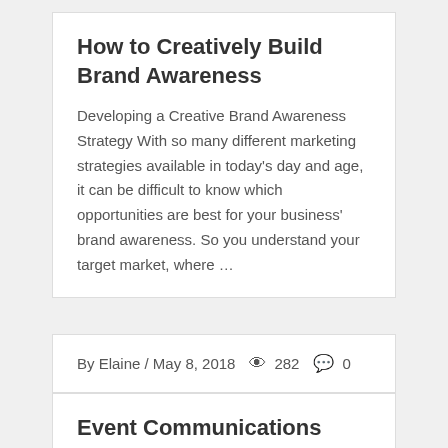How to Creatively Build Brand Awareness
Developing a Creative Brand Awareness Strategy With so many different marketing strategies available in today’s day and age, it can be difficult to know which opportunities are best for your business’ brand awareness. So you understand your target market, where …
By Elaine / May 8, 2018  282  0
Event Communications Strategy for your Business
Developing a Communications Strategy